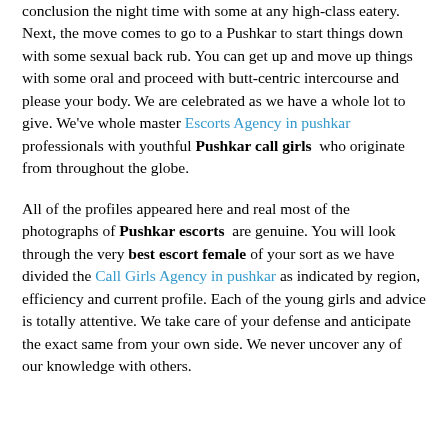conclusion the night time with some at any high-class eatery. Next, the move comes to go to a Pushkar to start things down with some sexual back rub. You can get up and move up things with some oral and proceed with butt-centric intercourse and please your body. We are celebrated as we have a whole lot to give. We've whole master Escorts Agency in pushkar professionals with youthful Pushkar call girls who originate from throughout the globe.
All of the profiles appeared here and real most of the photographs of Pushkar escorts are genuine. You will look through the very best escort female of your sort as we have divided the Call Girls Agency in pushkar as indicated by region, efficiency and current profile. Each of the young girls and advice is totally attentive. We take care of your defense and anticipate the exact same from your own side. We never uncover any of our knowledge with others.